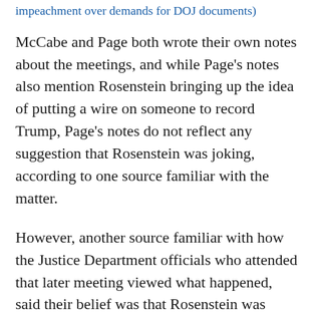impeachment over demands for DOJ documents)
McCabe and Page both wrote their own notes about the meetings, and while Page's notes also mention Rosenstein bringing up the idea of putting a wire on someone to record Trump, Page's notes do not reflect any suggestion that Rosenstein was joking, according to one source familiar with the matter.
However, another source familiar with how the Justice Department officials who attended that later meeting viewed what happened, said their belief was that Rosenstein was being "sarcastic" -- noting that there was never any follow-up conversation from Rosenstein or anyone else about it.